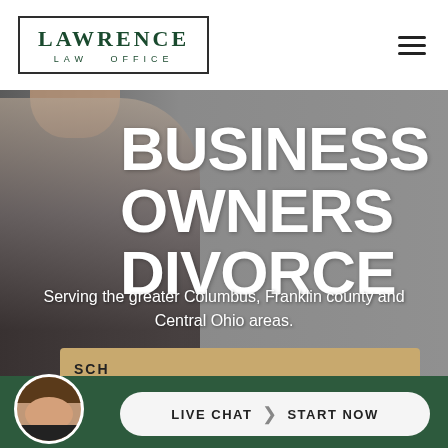[Figure (logo): Lawrence Law Office logo in a rectangular border, dark green serif text]
BUSINESS OWNERS DIVORCE
Serving the greater Columbus, Franklin county and Central Ohio areas.
SCH
LIVE CHAT  START NOW
[Figure (photo): Woman avatar/headshot in circular frame at bottom left]